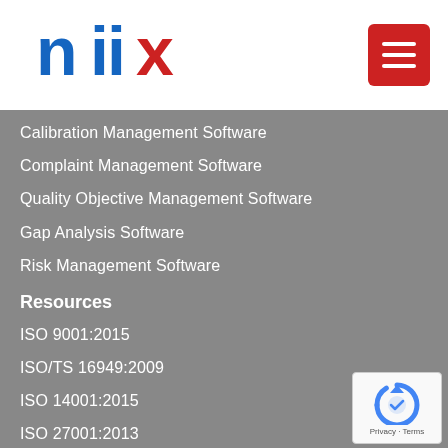[Figure (logo): niix logo in blue and red]
Calibration Management Software
Complaint Management Software
Quality Objective Management Software
Gap Analysis Software
Risk Management Software
Resources
ISO 9001:2015
ISO/TS 16949:2009
ISO 14001:2015
ISO 27001:2013
ISO 13485:2016
ISO 45001:2018